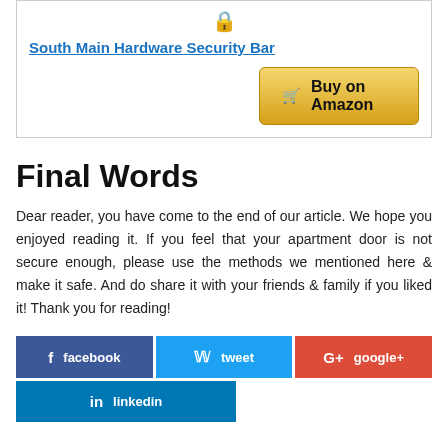[Figure (other): Product card showing South Main Hardware Security Bar with a lock/security icon at top, a product link, and a Buy on Amazon button]
Final Words
Dear reader, you have come to the end of our article. We hope you enjoyed reading it. If you feel that your apartment door is not secure enough, please use the methods we mentioned here & make it safe. And do share it with your friends & family if you liked it! Thank you for reading!
[Figure (infographic): Social sharing buttons: Facebook, Tweet, Google+, LinkedIn]